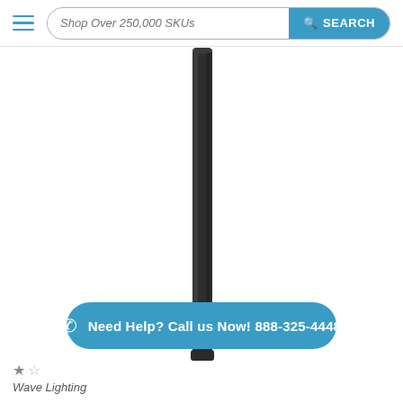Shop Over 250,000 SKUs  SEARCH
[Figure (photo): A dark/black vertical lighting pole or post photographed against a white background, showing primarily the elongated cylindrical shaft.]
Need Help? Call us Now! 888-325-4448
Wave Lighting